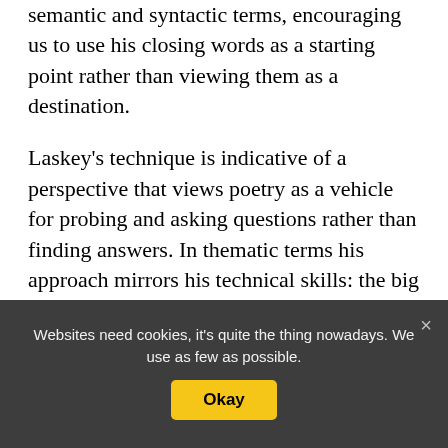semantic and syntactic terms, encouraging us to use his closing words as a starting point rather than viewing them as a destination.
Laskey's technique is indicative of a perspective that views poetry as a vehicle for probing and asking questions rather than finding answers. In thematic terms his approach mirrors his technical skills: the big issues of life are seldom explicitly invoked, but they provide the framework for all his work. He tends to hint at their presence rather than meeting them head-on, preferring to find new
Websites need cookies, it's quite the thing nowadays. We use as few as possible.